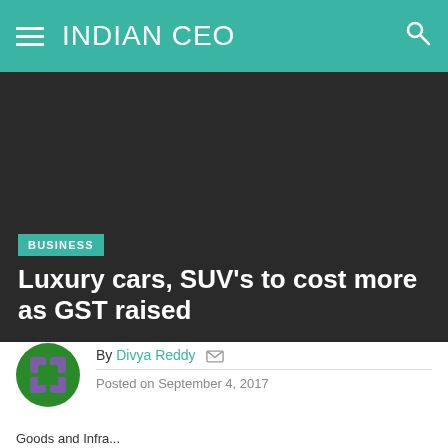INDIAN CEO
[Figure (photo): Dark hero image for article about luxury cars and GST]
BUSINESS
Luxury cars, SUV's to cost more as GST raised
By Divya Reddy  Posted on September 4, 2017
Goods and Infra... (GST) ra...